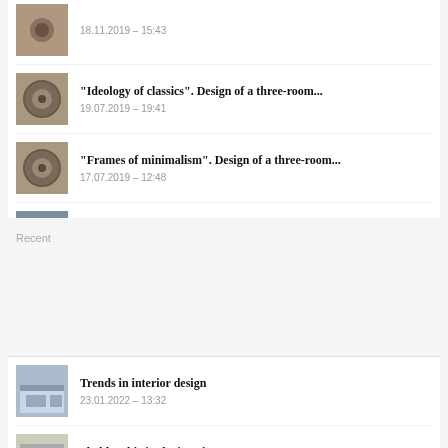18.11.2019 – 15:43
"Ideology of classics". Design of a three-room...
19.07.2019 – 19:41
"Frames of minimalism". Design of a three-room...
17.07.2019 – 12:48
Mansard
10.07.2019 – 10:36
Recent
Trends in interior design
23.01.2022 – 13:32
Shabby chic in the interior
19.11.2021 – 21:02